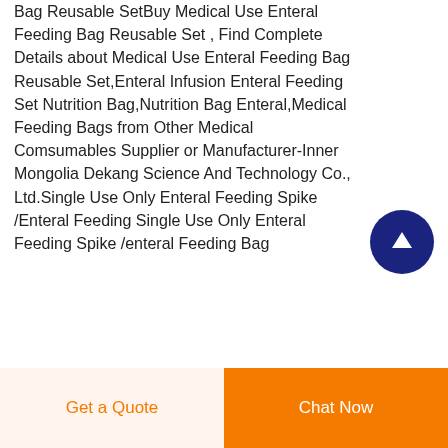Bag Reusable SetBuy Medical Use Enteral Feeding Bag Reusable Set , Find Complete Details about Medical Use Enteral Feeding Bag Reusable Set,Enteral Infusion Enteral Feeding Set Nutrition Bag,Nutrition Bag Enteral,Medical Feeding Bags from Other Medical Comsumables Supplier or Manufacturer-Inner Mongolia Dekang Science And Technology Co., Ltd.Single Use Only Enteral Feeding Spike /Enteral Feeding Single Use Only Enteral Feeding Spike /enteral Feeding Bag
[Figure (other): Scroll-to-top button: dark navy blue circle with white upward arrow icon]
Get a Quote
Chat Now